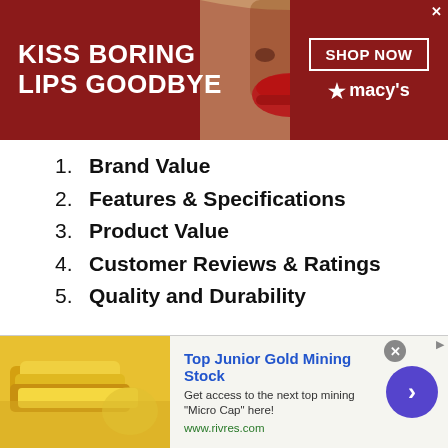[Figure (photo): Macy's advertisement banner with red background showing 'KISS BORING LIPS GOODBYE', a woman's face with red lips, SHOP NOW button, and Macy's star logo]
1. Brand Value
2. Features & Specifications
3. Product Value
4. Customer Reviews & Ratings
5. Quality and Durability
We do not forget that keeping product information up-to-date is our priority; therefore, we keep our websites updated at
[Figure (photo): Bottom advertisement for Top Junior Gold Mining Stock from www.rivres.com showing gold bars image and a blue arrow button]